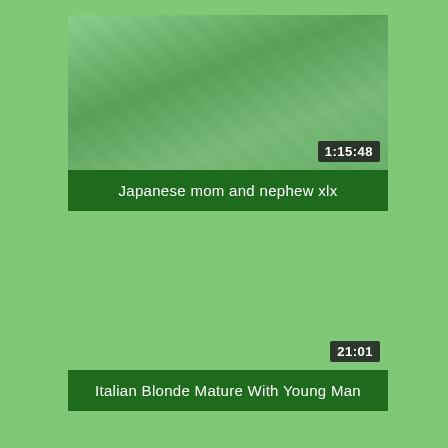[Figure (screenshot): Video thumbnail with green tint overlay showing a scene on a bed, with a timestamp badge showing 1:15:48 in the bottom right corner]
Japanese mom and nephew xlx
[Figure (screenshot): Video thumbnail area (blank/green) with a timestamp badge showing 21:01 in the bottom right corner]
Italian Blonde Mature With Young Man